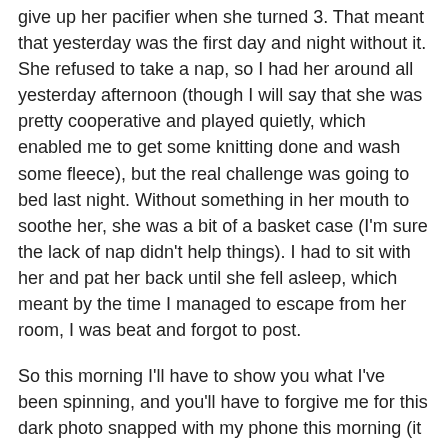give up her pacifier when she turned 3. That meant that yesterday was the first day and night without it. She refused to take a nap, so I had her around all yesterday afternoon (though I will say that she was pretty cooperative and played quietly, which enabled me to get some knitting done and wash some fleece), but the real challenge was going to bed last night. Without something in her mouth to soothe her, she was a bit of a basket case (I'm sure the lack of nap didn't help things). I had to sit with her and pat her back until she fell asleep, which meant by the time I managed to escape from her room, I was beat and forgot to post.
So this morning I'll have to show you what I've been spinning, and you'll have to forgive me for this dark photo snapped with my phone this morning (it was dark and rainy yesterday anyway, so you wouldn't have gotten a much better shot had I remembered to take one with the good camera yesterday).
[Figure (photo): A dark photo showing teal/blue fluffy fiber or yarn next to what appears to be a brown paper bag or similar object, taken with a phone in low light conditions.]